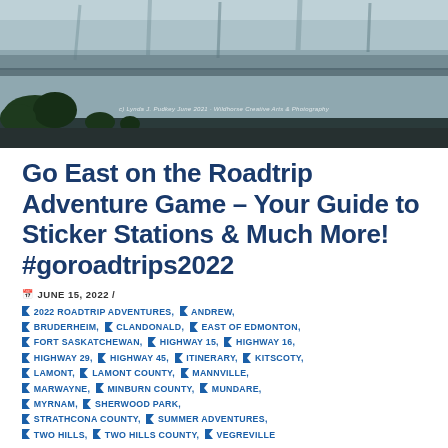[Figure (photo): Landscape photo of a lake with tree reflections on water, a dark shoreline with trees in the foreground, and a watermark reading 'Lynda J. Pudkey June 2021 Wildhorse Creative Arts & Photography']
Go East on the Roadtrip Adventure Game – Your Guide to Sticker Stations & Much More! #goroadtrips2022
JUNE 15, 2022 /
2022 ROADTRIP ADVENTURES
ANDREW
BRUDERHEIM
CLANDONALD
EAST OF EDMONTON
FORT SASKATCHEWAN
HIGHWAY 15
HIGHWAY 16
HIGHWAY 29
HIGHWAY 45
ITINERARY
KITSCOTY
LAMONT
LAMONT COUNTY
MANNVILLE
MARWAYNE
MINBURN COUNTY
MUNDARE
MYRNAM
SHERWOOD PARK
STRATHCONA COUNTY
SUMMER ADVENTURES
TWO HILLS
TWO HILLS COUNTY
VEGREVILLE